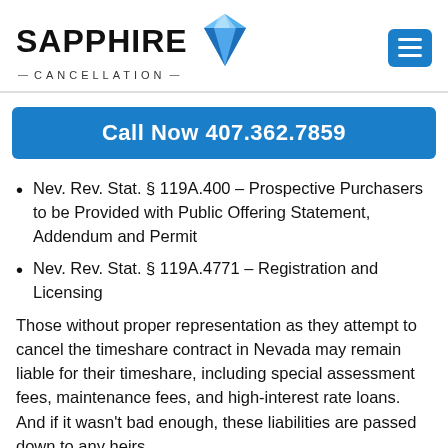[Figure (logo): Sapphire Cancellation logo with blue diamond gem graphic and hamburger menu button]
Call Now 407.362.7859
Nev. Rev. Stat. § 119A.400 – Prospective Purchasers to be Provided with Public Offering Statement, Addendum and Permit
Nev. Rev. Stat. § 119A.4771 – Registration and Licensing
Those without proper representation as they attempt to cancel the timeshare contract in Nevada may remain liable for their timeshare, including special assessment fees, maintenance fees, and high-interest rate loans. And if it wasn't bad enough, these liabilities are passed down to any heirs.